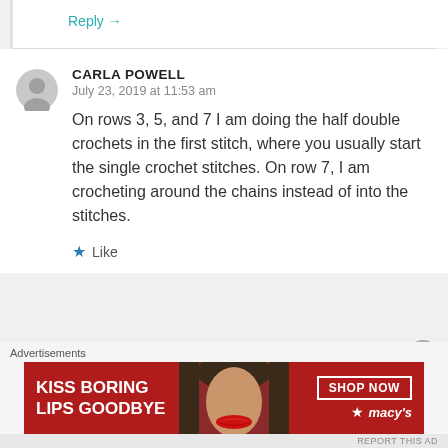Reply →
CARLA POWELL
July 23, 2019 at 11:53 am
On rows 3, 5, and 7 I am doing the half double crochets in the first stitch, where you usually start the single crochet stitches. On row 7, I am crocheting around the chains instead of into the stitches.
★ Like
Advertisements
[Figure (photo): Macy's advertisement banner: KISS BORING LIPS GOODBYE with SHOP NOW button and Macy's star logo, featuring a woman with red lips]